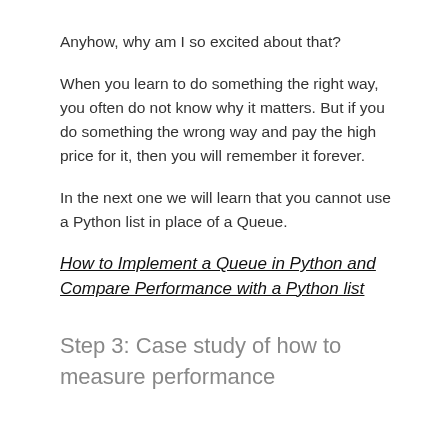Anyhow, why am I so excited about that?
When you learn to do something the right way, you often do not know why it matters. But if you do something the wrong way and pay the high price for it, then you will remember it forever.
In the next one we will learn that you cannot use a Python list in place of a Queue.
How to Implement a Queue in Python and Compare Performance with a Python list
Step 3: Case study of how to measure performance